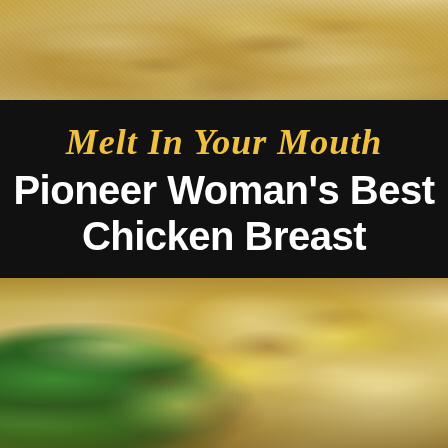[Figure (photo): Close-up food photo of chicken breast covered in creamy sauce, top portion]
Melt In Your Mouth Pioneer Woman's Best Chicken Breast
[Figure (photo): Close-up food photo of chicken breast covered in creamy sauce with broccoli on the side, bottom portion]